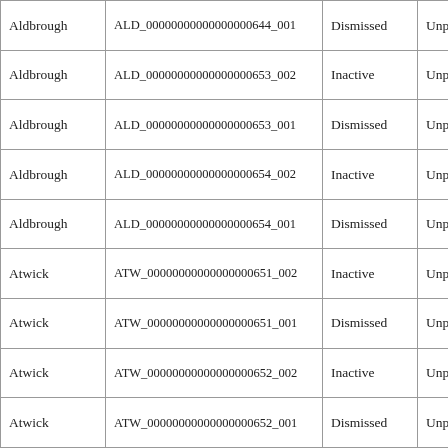| Aldbrough | ALD_00000000000000000644_001 | Dismissed | Unplanned |
| Aldbrough | ALD_00000000000000000653_002 | Inactive | Unplanned |
| Aldbrough | ALD_00000000000000000653_001 | Dismissed | Unplanned |
| Aldbrough | ALD_00000000000000000654_002 | Inactive | Unplanned |
| Aldbrough | ALD_00000000000000000654_001 | Dismissed | Unplanned |
| Atwick | ATW_00000000000000000651_002 | Inactive | Unplanned |
| Atwick | ATW_00000000000000000651_001 | Dismissed | Unplanned |
| Atwick | ATW_00000000000000000652_002 | Inactive | Unplanned |
| Atwick | ATW_00000000000000000652_001 | Dismissed | Unplanned |